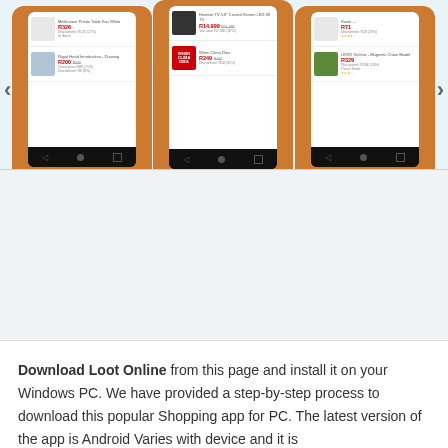[Figure (screenshot): Three Android smartphone screenshots showing the Loot Online shopping app with product listings including electronics, books, and accessories on an orange/brown background. Left and right navigation arrows are visible.]
Download Loot Online from this page and install it on your Windows PC. We have provided a step-by-step process to download this popular Shopping app for PC. The latest version of the app is Android Varies with device and it is